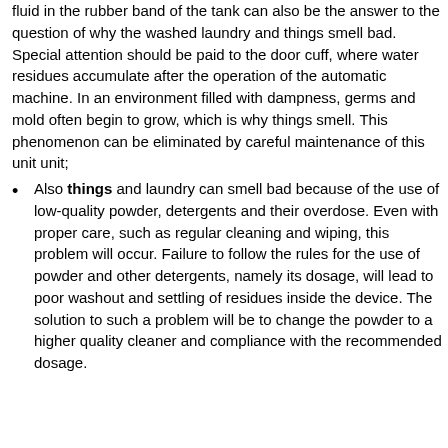fluid in the rubber band of the tank can also be the answer to the question of why the washed laundry and things smell bad. Special attention should be paid to the door cuff, where water residues accumulate after the operation of the automatic machine. In an environment filled with dampness, germs and mold often begin to grow, which is why things smell. This phenomenon can be eliminated by careful maintenance of this unit unit;
Also things and laundry can smell bad because of the use of low-quality powder, detergents and their overdose. Even with proper care, such as regular cleaning and wiping, this problem will occur. Failure to follow the rules for the use of powder and other detergents, namely its dosage, will lead to poor washout and settling of residues inside the device. The solution to such a problem will be to change the powder to a higher quality cleaner and compliance with the recommended dosage.